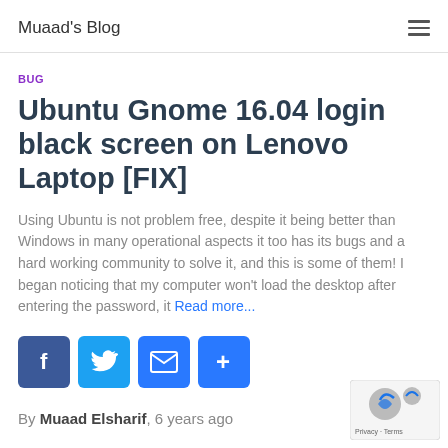Muaad's Blog
BUG
Ubuntu Gnome 16.04 login black screen on Lenovo Laptop [FIX]
Using Ubuntu is not problem free, despite it being better than Windows in many operational aspects it too has its bugs and a hard working community to solve it, and this is some of them! I began noticing that my computer won't load the desktop after entering the password, it Read more...
[Figure (infographic): Social sharing buttons: Facebook, Twitter, Email, Plus]
By Muaad Elsharif, 6 years ago